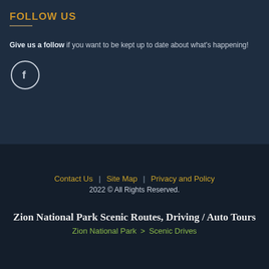FOLLOW US
Give us a follow if you want to be kept up to date about what's happening!
[Figure (logo): Facebook circular icon with letter f]
Contact Us | Site Map | Privacy and Policy
2022 © All Rights Reserved.
Zion National Park Scenic Routes, Driving / Auto Tours
Zion National Park > Scenic Drives